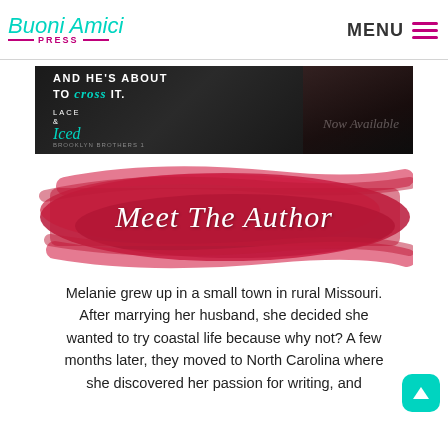[Figure (logo): Buoni Amici Press logo with teal cursive text and pink PRESS wordmark with decorative lines]
[Figure (photo): Dark promotional banner for 'Lace & Iced' book by Brooklyn Brothers. Text reads 'AND HE'S ABOUT TO CROSS IT.' with 'Now Available' in script. Dark moody background with silhouette.]
[Figure (illustration): Red brushstroke graphic background with white cursive text reading 'Meet The Author']
Melanie grew up in a small town in rural Missouri. After marrying her husband, she decided she wanted to try coastal life because why not? A few months later, they moved to North Carolina where she discovered her passion for writing, and